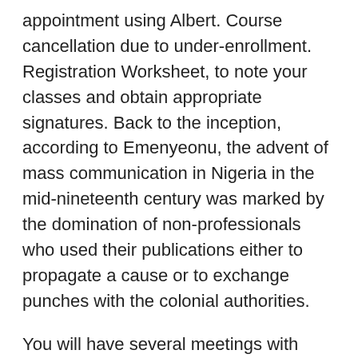appointment using Albert. Course cancellation due to under-enrollment. Registration Worksheet, to note your classes and obtain appropriate signatures. Back to the inception, according to Emenyeonu, the advent of mass communication in Nigeria in the mid-nineteenth century was marked by the domination of non-professionals who used their publications either to propagate a cause or to exchange punches with the colonial authorities.
You will have several meetings with your adviser during your tenure at Steinhardt. Both undergraduate engineering students and more established engineers in the U. This includes Advanced Placement examinations and college courses that you took while in high school with letter grades of B or better.
The Career Center Certification Program includes specific skills geared toward identifying options for career